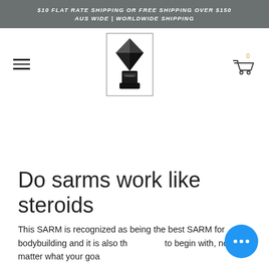$10 FLAT RATE SHIPPING OR FREE SHIPPING OVER $150 AUS WIDE | WORLDWIDE SHIPPING
[Figure (logo): Navigation bar with hamburger menu icon on left, crystal/gem logo in center within a bordered box, shopping cart icon with 0 count on right]
Do sarms work like steroids
This SARM is recognized as being the best SARM for bodybuilding and it is also the easiest to begin with, no matter what your goals are